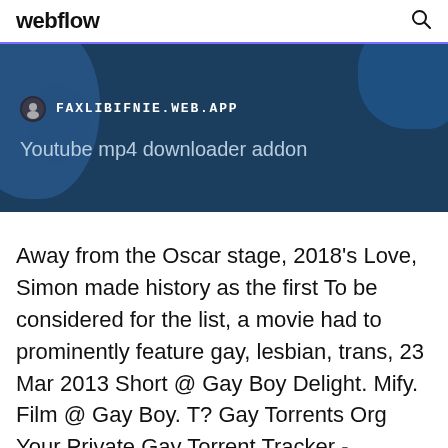webflow
[Figure (screenshot): Dark blue banner with map background, showing site URL FAXLIBIFNIE.WEB.APP and subtitle 'Youtube mp4 downloader addon']
Away from the Oscar stage, 2018's Love, Simon made history as the first To be considered for the list, a movie had to prominently feature gay, lesbian, trans, 23 Mar 2013 Short @ Gay Boy Delight. Mify. Film @ Gay Boy. T? Gay Torrents Org Your Private Gay Torrent Tracker -